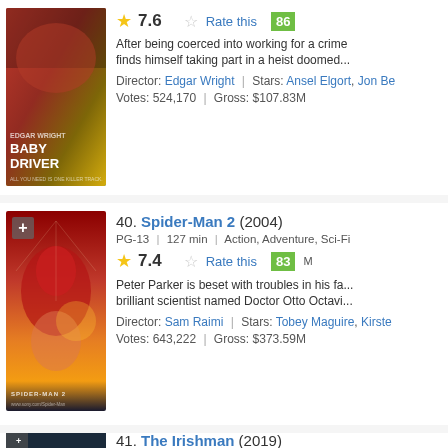[Figure (photo): Baby Driver movie poster showing action scene with characters]
7.6 | Rate this | 86
After being coerced into working for a crime boss, a young getaway driver finds himself taking part in a heist doomed...
Director: Edgar Wright | Stars: Ansel Elgort, Jon Be...
Votes: 524,170 | Gross: $107.83M
[Figure (photo): Spider-Man 2 movie poster showing Spider-Man and Mary Jane]
40. Spider-Man 2 (2004)
PG-13 | 127 min | Action, Adventure, Sci-Fi
7.4 | Rate this | 83
Peter Parker is beset with troubles in his fa... brilliant scientist named Doctor Otto Octavi...
Director: Sam Raimi | Stars: Tobey Maguire, Kirste...
Votes: 643,222 | Gross: $373.59M
41. The Irishman (2019)